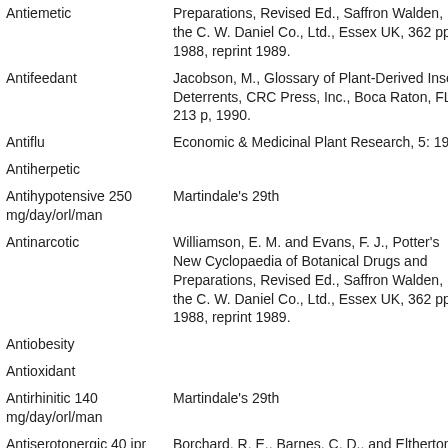| Activity | Reference |
| --- | --- |
| Antiemetic | Preparations, Revised Ed., Saffron Walden, the C. W. Daniel Co., Ltd., Essex UK, 362 pp, 1988, reprint 1989. |
| Antifeedant | Jacobson, M., Glossary of Plant-Derived Insect Deterrents, CRC Press, Inc., Boca Raton, FL, 213 p, 1990. |
| Antiflu | Economic & Medicinal Plant Research, 5: 198. |
| Antiherpetic |  |
| Antihypotensive 250 mg/day/orl/man | Martindale's 29th |
| Antinarcotic | Williamson, E. M. and Evans, F. J., Potter's New Cyclopaedia of Botanical Drugs and Preparations, Revised Ed., Saffron Walden, the C. W. Daniel Co., Ltd., Essex UK, 362 pp, 1988, reprint 1989. |
| Antiobesity |  |
| Antioxidant |  |
| Antirhinitic 140 mg/day/orl/man | Martindale's 29th |
| Antiserotonergic 40 ipr rat | Borchard, R. E., Barnes, C. D., and Eltherton, L. G. 1991. Drug Dosage in Laboratory Animals: A Handbook. (3rd Ed.) The Telford Press, Inc., P. O. Box 287, Caldwell NJ 07006. |